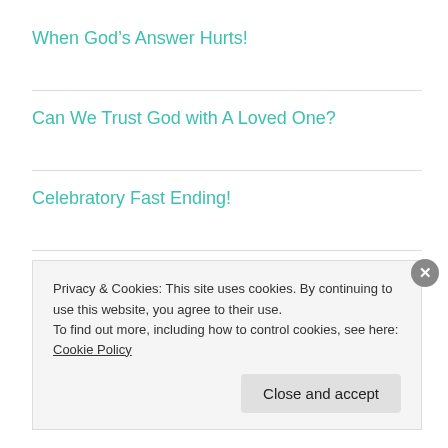When God’s Answer Hurts!
Can We Trust God with A Loved One?
Celebratory Fast Ending!
ARCHIVES
Select Month
Privacy & Cookies: This site uses cookies. By continuing to use this website, you agree to their use.
To find out more, including how to control cookies, see here: Cookie Policy
Close and accept